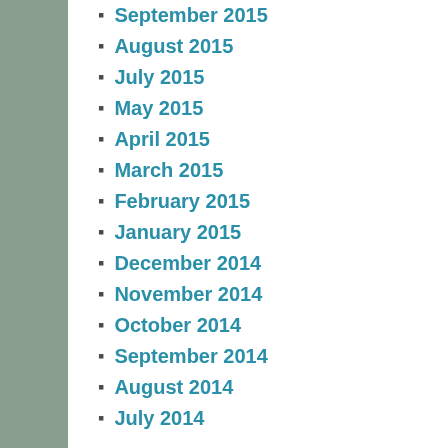September 2015
August 2015
July 2015
May 2015
April 2015
March 2015
February 2015
January 2015
December 2014
November 2014
October 2014
September 2014
August 2014
July 2014
CATEGORIES
School
META
Register
Log in